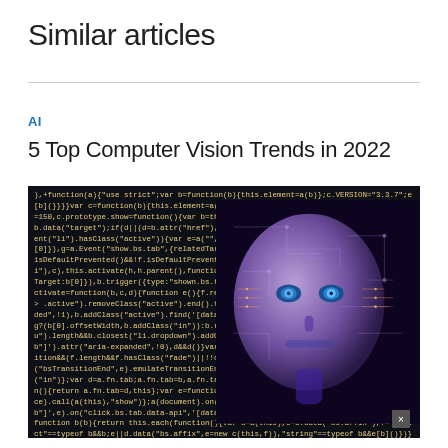Similar articles
AI
5 Top Computer Vision Trends in 2022
[Figure (photo): A composite image of a robotic/AI humanoid face overlaid with code text on a dark background, representing computer vision and AI technology.]